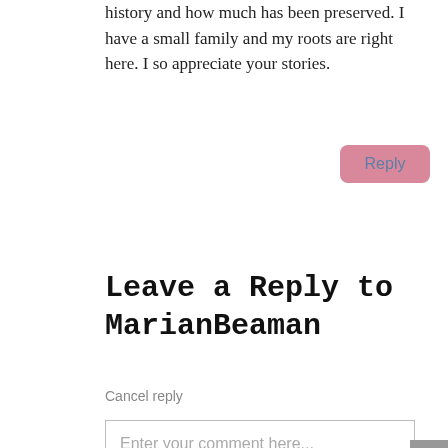history and how much has been preserved. I have a small family and my roots are right here. I so appreciate your stories.
Reply
Leave a Reply to MarianBeaman
Cancel reply
Enter your comment here...